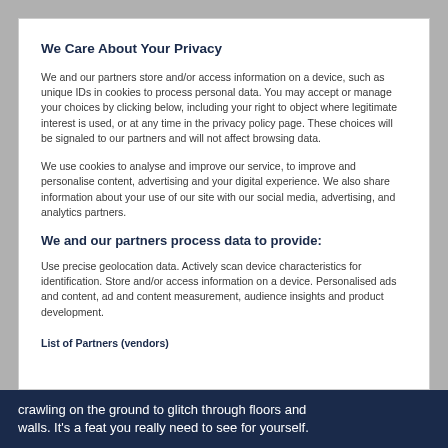We Care About Your Privacy
We and our partners store and/or access information on a device, such as unique IDs in cookies to process personal data. You may accept or manage your choices by clicking below, including your right to object where legitimate interest is used, or at any time in the privacy policy page. These choices will be signaled to our partners and will not affect browsing data.
We use cookies to analyse and improve our service, to improve and personalise content, advertising and your digital experience. We also share information about your use of our site with our social media, advertising, and analytics partners.
We and our partners process data to provide:
Use precise geolocation data. Actively scan device characteristics for identification. Store and/or access information on a device. Personalised ads and content, ad and content measurement, audience insights and product development.
List of Partners (vendors)
crawling on the ground to glitch through floors and walls. It's a feat you really need to see for yourself.